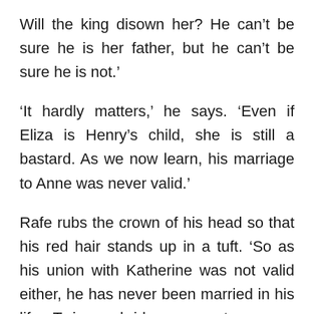Will the king disown her? He can't be sure he is her father, but he can't be sure he is not.'
'It hardly matters,' he says. 'Even if Eliza is Henry's child, she is still a bastard. As we now learn, his marriage to Anne was never valid.'
Rafe rubs the crown of his head so that his red hair stands up in a tuft. 'So as his union with Katherine was not valid either, he has never been married in his life. Twice a bridegroom yet never a husband – has it